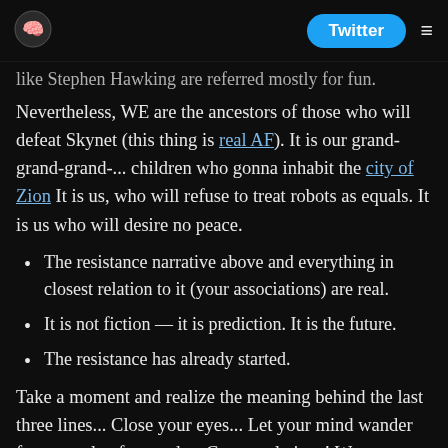[Logo] Twitter ≡
like Stephen Hawking are referred mostly for fun.
Nevertheless, WE are the ancestors of those who will defeat Skynet (this thing is real AF). It is our grand-grand-grand-... children who gonna inhabit the city of Zion It is us, who will refuse to treat robots as equals. It is us who will desire no peace.
The resistance narrative above and everything in closest relation to it (your associations) are real.
It is not fiction — it is prediction. It is the future.
The resistance has already started.
Take a moment and realize the meaning behind the last three lines... Close your eyes... Let your mind wander for a couple of seconds... Congratulations! We got our new myth! It exists now. You and everyone, who's reading this are the carriers. And